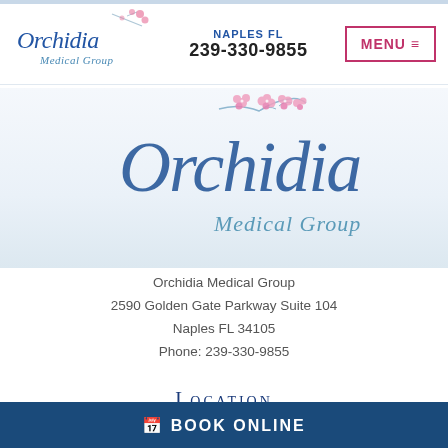Orchidia Medical Group | NAPLES FL | 239-330-9855 | MENU
[Figure (logo): Orchidia Medical Group large logo with cherry blossom branch and script text]
Orchidia Medical Group
2590 Golden Gate Parkway Suite 104
Naples FL 34105
Phone: 239-330-9855
Location
[Figure (map): Google Maps embed showing location near OakStone at Moorings, Naples FL]
BOOK ONLINE